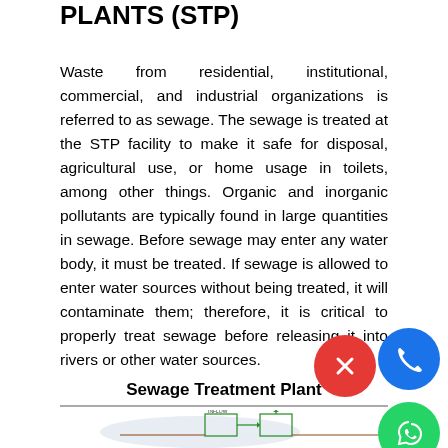PLANTS (STP)
Waste from residential, institutional, commercial, and industrial organizations is referred to as sewage. The sewage is treated at the STP facility to make it safe for disposal, agricultural use, or home usage in toilets, among other things. Organic and inorganic pollutants are typically found in large quantities in sewage. Before sewage may enter any water body, it must be treated. If sewage is allowed to enter water sources without being treated, it will contaminate them; therefore, it is critical to properly treat sewage before releasing it into rivers or other water sources.
Sewage Treatment Plant
[Figure (engineering-diagram): Schematic/flow diagram of a Sewage Treatment Plant showing treatment stages and flow paths]